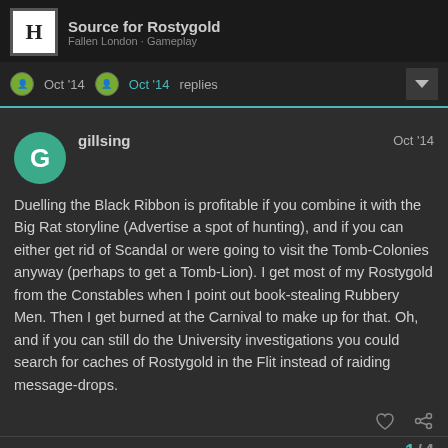Source for Rostygold — Fallen London Gameplay
Oct '14  Oct '14  replies
gillsing  Oct '14
Duelling the Black Ribbon is profitable if you combine it with the Big Rat storyline (Advertise a spot of hunting), and if you can either get rid of Scandal or were going to visit the Tomb-Colonies anyway (perhaps to get a Tomb-Lion). I get most of my Rostygold from the Constables when I point out book-stealing Rubbery Men. Then I get burned at the Carnival to make up for that. Oh, and if you can still do the University investigations you could search for caches of Rostygold in the Flit instead of raiding message-drops.
1 / 4
alexiskennedywasrite